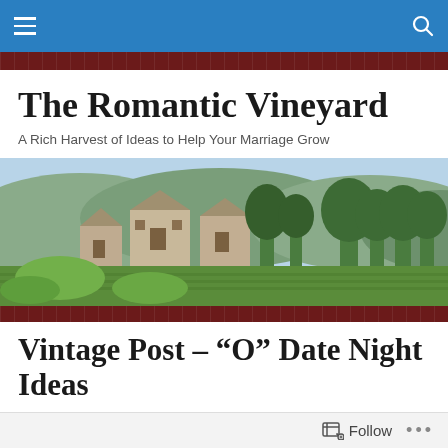Navigation bar with menu and search icons
The Romantic Vineyard
A Rich Harvest of Ideas to Help Your Marriage Grow
[Figure (photo): Panoramic vineyard landscape with stone buildings, lush green fields, trees, and rolling hills in the background under a clear sky]
Vintage Post – “O” Date Night Ideas
Posted by Debi Walter
Follow